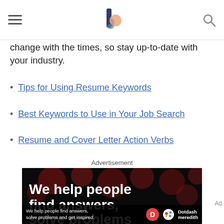[hamburger menu] [The Balance Careers logo] [search icon]
change with the times, so stay up-to-date with your industry.
Tips for Using Resume Keywords
Best Keywords to Use in Your Job Search
Resume and Cover Letter Action Verbs
Advertisement
[Figure (photo): Black advertisement banner with red bokeh circles and white bold text reading 'We help people find answers, solve problems'. Bottom strip shows 'We help people find answers, solve problems and get inspired.' with Dotdash Meredith logo.]